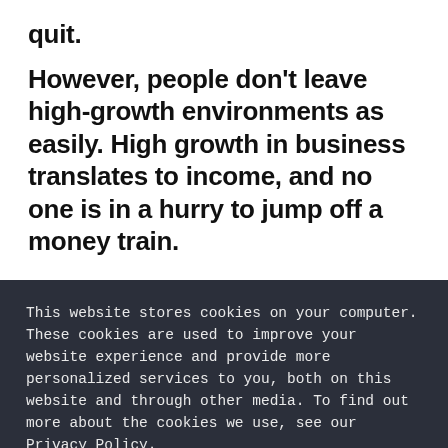quit.
However, people don't leave high-growth environments as easily. High growth in business translates to income, and no one is in a hurry to jump off a money train.
This website stores cookies on your computer. These cookies are used to improve your website experience and provide more personalized services to you, both on this website and through other media. To find out more about the cookies we use, see our Privacy Policy.
We won't track your information when you visit our site. But in order to comply with your preferences, we'll have to use just one tiny cookie so that you're not asked to make this choice again.
Accept
Reject